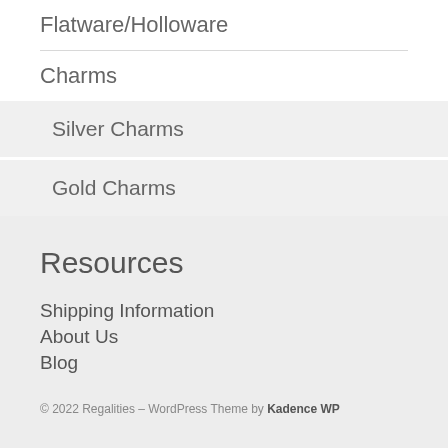Flatware/Holloware
Charms
Silver Charms
Gold Charms
Resources
Shipping Information
About Us
Blog
© 2022 Regalities – WordPress Theme by Kadence WP